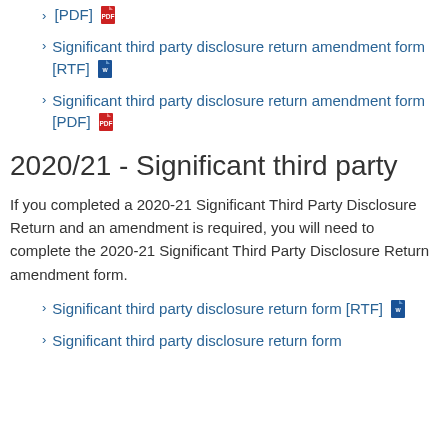Significant third party disclosure return amendment form [PDF]
Significant third party disclosure return amendment form [RTF]
Significant third party disclosure return amendment form [PDF]
2020/21 - Significant third party
If you completed a 2020-21 Significant Third Party Disclosure Return and an amendment is required, you will need to complete the 2020-21 Significant Third Party Disclosure Return amendment form.
Significant third party disclosure return form [RTF]
Significant third party disclosure return form